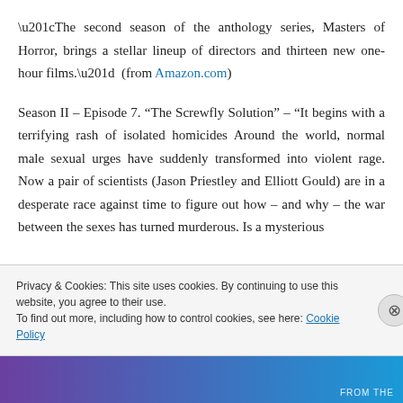“The second season of the anthology series, Masters of Horror, brings a stellar lineup of directors and thirteen new one-hour films.”  (from Amazon.com)
Season II – Episode 7. “The Screwfly Solution” – “It begins with a terrifying rash of isolated homicides Around the world, normal male sexual urges have suddenly transformed into violent rage. Now a pair of scientists (Jason Priestley and Elliott Gould) are in a desperate race against time to figure out how – and why – the war between the sexes has turned murderous. Is a mysterious
Privacy & Cookies: This site uses cookies. By continuing to use this website, you agree to their use.
To find out more, including how to control cookies, see here: Cookie Policy